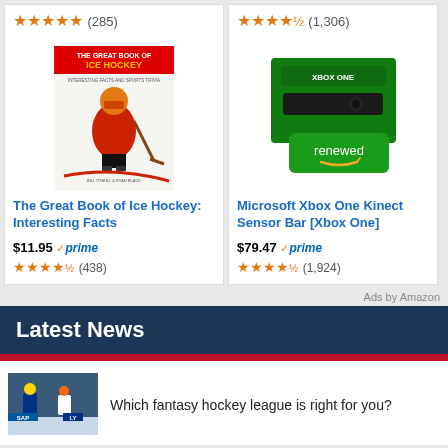[Figure (other): Top ratings row: left card shows 5 stars (285), right card shows 4.5 stars (1,306)]
[Figure (other): Book product card: The Great Book of Ice Hockey with cover image, $11.95, prime, 4.5 stars (438)]
[Figure (other): Microsoft Xbox One Kinect Sensor Bar product card with renewed badge, $79.47, prime, 4.5 stars (1,924)]
Ads by Amazon
Latest News
Which fantasy hockey league is right for you?